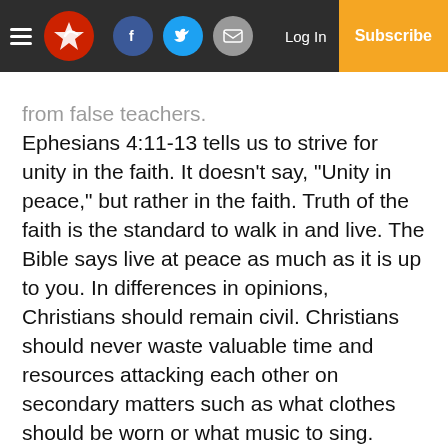Navigation bar with hamburger menu, logo, social icons (Facebook, Twitter, Email), Log In, Subscribe
from false teachers.
Ephesians 4:11-13 tells us to strive for unity in the faith. It doesn’t say, “Unity in peace,” but rather in the faith. Truth of the faith is the standard to walk in and live. The Bible says live at peace as much as it is up to you. In differences in opinions, Christians should remain civil. Christians should never waste valuable time and resources attacking each other on secondary matters such as what clothes should be worn or what music to sing.
Jesus prayed for unity in John Chapter 17 when Jesus asked the Father, “that they may be one as we are one,” speaking of the disciples and those who would